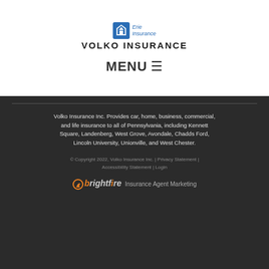[Figure (logo): Erie Insurance logo with shield icon and italic text]
VOLKO INSURANCE
MENU ☰
Volko Insurance Inc. Provides car, home, business, commercial, and life insurance to all of Pennsylvania, including Kennett Square, Landenberg, West Grove, Avondale, Chadds Ford, Lincoln University, Unionville, and West Chester.
© Copyright 2022, Volko Insurance Inc. | Privacy Statement | Accessibility Statement | Login
[Figure (logo): BrightFire logo with orange icon and Insurance Agent Marketing tagline]